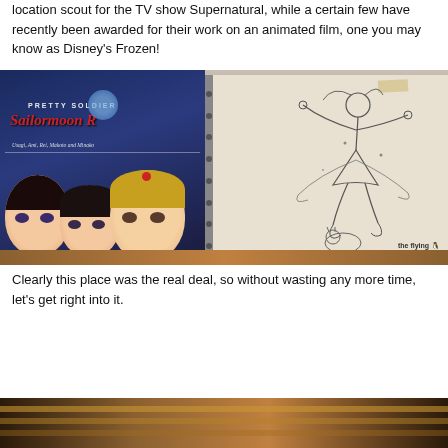location scout for the TV show Supernatural, while a certain few have recently been awarded for their work on an animated film, one you may know as Disney's Frozen!
[Figure (photo): Photo of a Pretty Soldier Sailormoon R manga/comic book cover next to a hand-drawn sketch of a sailor moon character in a notebook, placed on a wooden surface. The book cover shows anime characters (Usagi, Ami, Rei, Makoto and Minako) and the sketch shows a dancing/jumping figure. A 'the flying penguin.ca' watermark is visible.]
Clearly this place was the real deal, so without wasting any more time, let's get right into it.
[Figure (photo): Bottom portion of another photo showing what appears to be a dark interior with warm lighting, possibly a building interior with horizontal architectural elements.]